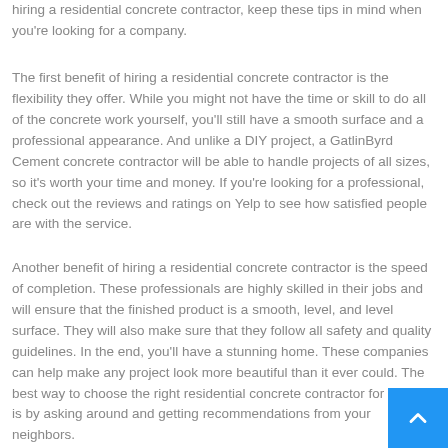hiring a residential concrete contractor, keep these tips in mind when you're looking for a company.
The first benefit of hiring a residential concrete contractor is the flexibility they offer. While you might not have the time or skill to do all of the concrete work yourself, you'll still have a smooth surface and a professional appearance. And unlike a DIY project, a GatlinByrd Cement concrete contractor will be able to handle projects of all sizes, so it's worth your time and money. If you're looking for a professional, check out the reviews and ratings on Yelp to see how satisfied people are with the service.
Another benefit of hiring a residential concrete contractor is the speed of completion. These professionals are highly skilled in their jobs and will ensure that the finished product is a smooth, level, and level surface. They will also make sure that they follow all safety and quality guidelines. In the end, you'll have a stunning home. These companies can help make any project look more beautiful than it ever could. The best way to choose the right residential concrete contractor for the job is by asking around and getting recommendations from your neighbors.